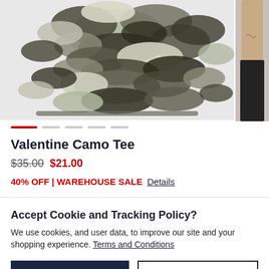[Figure (photo): Camouflage patterned shorts product image on light grey background]
Valentine Camo Tee
$35.00 $21.00
40% OFF | WAREHOUSE SALE  Details
Accept Cookie and Tracking Policy?
We use cookies, and user data, to improve our site and your shopping experience. Terms and Conditions
ACCEPT   DECLINE